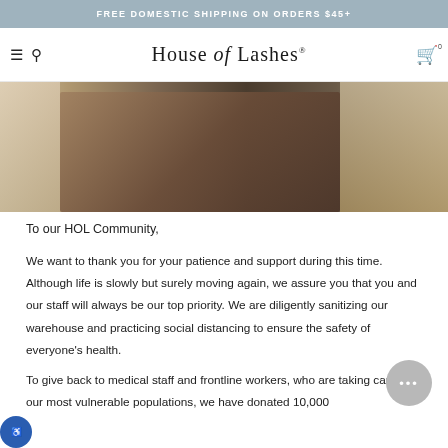FREE DOMESTIC SHIPPING ON ORDERS $45+
[Figure (logo): House of Lashes logo with hamburger menu, search icon, and cart icon in navigation bar]
[Figure (photo): People handling cardboard boxes in a warehouse setting]
To our HOL Community,
We want to thank you for your patience and support during this time. Although life is slowly but surely moving again, we assure you that you and our staff will always be our top priority. We are diligently sanitizing our warehouse and practicing social distancing to ensure the safety of everyone's health.
To give back to medical staff and frontline workers, who are taking care of our most vulnerable populations, we have donated 10,000